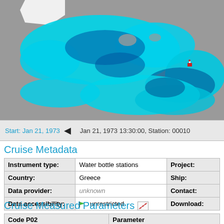[Figure (map): Satellite or oceanographic map showing cyan and dark blue water mass patterns over a grey background, with a small red/white marker visible in the right portion of the image.]
Start: Jan 21, 1973  ◄  Jan 21, 1973 13:30:00, Station: 00010
Cruise Metadata
| Instrument type: | Water bottle stations | Project: |
| --- | --- | --- |
| Country: | Greece | Ship: |
| Data provider: | unknown | Contact: |
| Data accessibility: | unrestricted | Download: |
Cruise Measured Parameters
| Code P02 | Parameter |
| --- | --- |